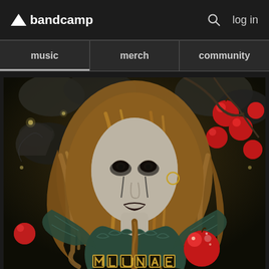bandcamp  log in
music  merch  community
[Figure (illustration): Album artwork illustration showing a woman with long auburn hair, wearing feathered/wing-like clothing, holding a shiny red apple. She is surrounded by red apples on branches and dark foliage. The style is detailed gothic fantasy illustration. At the bottom, partially visible text reads 'LUNAE' or similar in ornate lettering.]